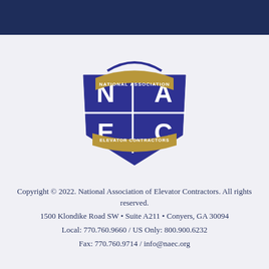[Figure (logo): NAEC shield logo with 'NATIONAL ASSOCIATION ELEVATOR CONTRACTORS' text and NA/EC letters in purple and gold]
Copyright © 2022. National Association of Elevator Contractors. All rights reserved.
1500 Klondike Road SW • Suite A211 • Conyers, GA 30094
Local: 770.760.9660 / US Only: 800.900.6232
Fax: 770.760.9714 / info@naec.org